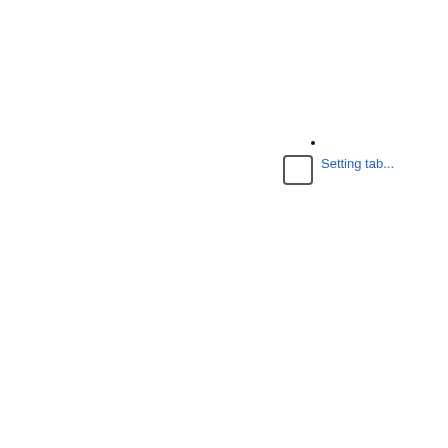Setting tab...
Group of w... gathered a... dining tabl...
Woman sta... amongst w... sitting at th...